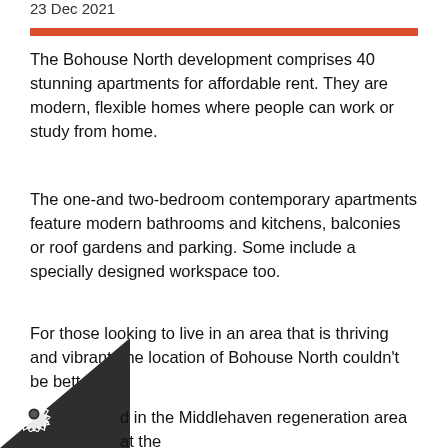23 Dec 2021
The Bohouse North development comprises 40 stunning apartments for affordable rent. They are modern, flexible homes where people can work or study from home.
The one-and two-bedroom contemporary apartments feature modern bathrooms and kitchens, balconies or roof gardens and parking. Some include a specially designed workspace too.
For those looking to live in an area that is thriving and vibrant, the location of Bohouse North couldn't be better.
d in the Middlehaven regeneration area at the f the Boho Zone - Middlesbrough's digital.